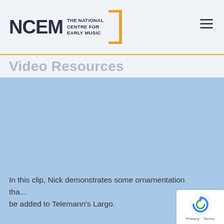[Figure (logo): NCEM - The National Centre for Early Music logo with orange bracket design]
Video Resources
[Figure (screenshot): Light blue content area representing a video resource page]
In this clip, Nick demonstrates some ornamentation tha... be added to Telemann's Largo.